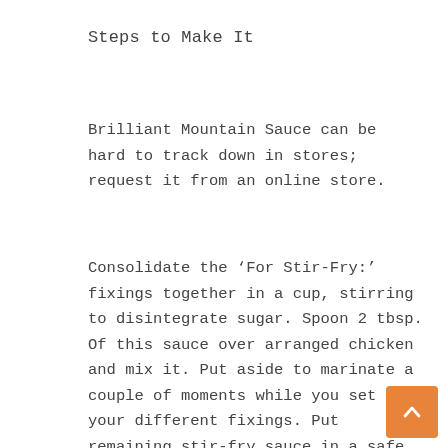Steps to Make It
Brilliant Mountain Sauce can be hard to track down in stores; request it from an online store.
Consolidate the ‘For Stir-Fry:’ fixings together in a cup, stirring to disintegrate sugar. Spoon 2 tbsp. Of this sauce over arranged chicken and mix it. Put aside to marinate a couple of moments while you set up your different fixings. Put remaining stir-fry sauce in a safe spot.